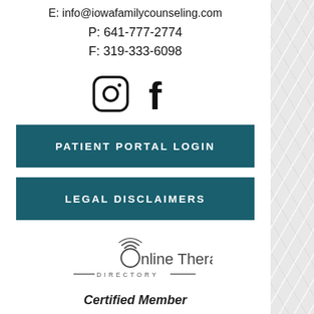E: info@iowafamilycounseling.com
P: 641-777-2774
F: 319-333-6098
[Figure (illustration): Instagram and Facebook social media icons]
PATIENT PORTAL LOGIN
LEGAL DISCLAIMERS
[Figure (logo): Online Therapy Directory logo with wifi arc symbol above letter O]
Certified Member